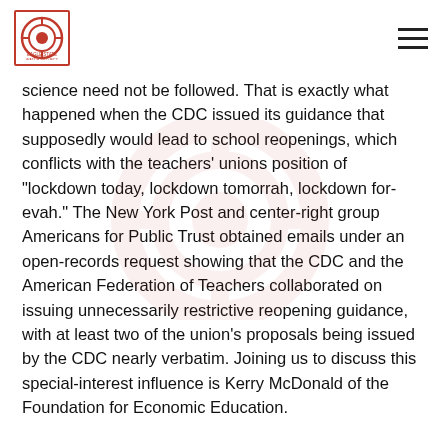[Logo: Eagle State Watch Project] [Hamburger menu icon]
science need not be followed. That is exactly what happened when the CDC issued its guidance that supposedly would lead to school reopenings, which conflicts with the teachers' unions position of "lockdown today, lockdown tomorrah, lockdown for-evah." The New York Post and center-right group Americans for Public Trust obtained emails under an open-records request showing that the CDC and the American Federation of Teachers collaborated on issuing unnecessarily restrictive reopening guidance, with at least two of the union's proposals being issued by the CDC nearly verbatim. Joining us to discuss this special-interest influence is Kerry McDonald of the Foundation for Economic Education.